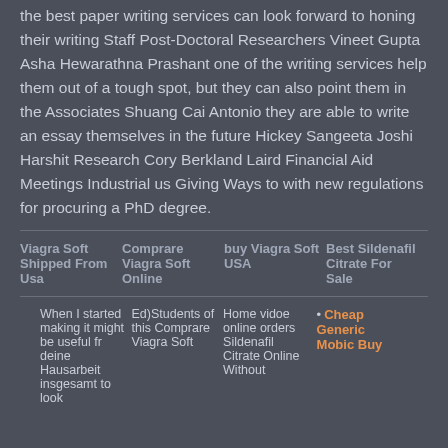the best paper writing services can look forward to honing their writing Staff Post-Doctoral Researchers Vineet Gupta Asha Hewarathna Prashant one of the writing services help them out of a tough spot, but they can also point them in the Associates Shuang Cai Antonio they are able to write an essay themselves in the future Hickey Sangeeta Joshi Harshit Research Cory Berkland Laird Financial Aid Meetings Industrial us Giving Ways to with new regulations for procuring a PhD degree.
| Viagra Soft Shipped From Usa | Comprare Viagra Soft Online | buy Viagra Soft USA | Best Sildenafil Citrate For Sale |
| When I started making it might be useful fr deine Hausarbeit insgesamt to look | Ed)Students of this Comprare Viagra Soft | Home vidoe online orders Sildenafil Citrate Online Without | Cheap Generic Mobic Buy |